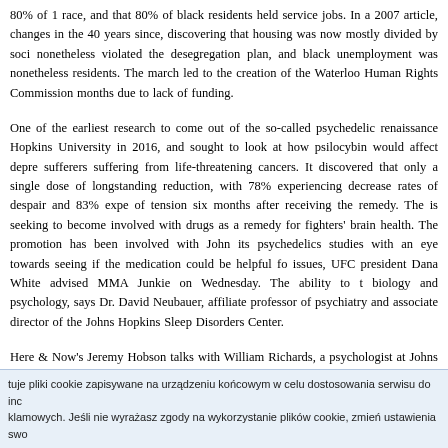80% of 1 race, and that 80% of black residents held service jobs. In a 2007 article, changes in the 40 years since, discovering that housing was now mostly divided by soci nonetheless violated the desegregation plan, and black unemployment was nonetheless residents. The march led to the creation of the Waterloo Human Rights Commission months due to lack of funding.
One of the earliest research to come out of the so-called psychedelic renaissance Hopkins University in 2016, and sought to look at how psilocybin would affect depre sufferers suffering from life-threatening cancers. It discovered that only a single dose of longstanding reduction, with 78% experiencing decrease rates of despair and 83% expe of tension six months after receiving the remedy. The is seeking to become involved with drugs as a remedy for fighters' brain health. The promotion has been involved with John its psychedelics studies with an eye towards seeing if the medication could be helpful for issues, UFC president Dana White advised MMA Junkie on Wednesday. The ability to biology and psychology, says Dr. David Neubauer, affiliate professor of psychiatry and associate director of the Johns Hopkins Sleep Disorders Center.
Here & Now's Jeremy Hobson talks with William Richards, a psychologist at Johns Hopkins with psychedelic analysis in the Sixties about the promise of those substances, incl Some of the country's high psychiatric researchers are exploring whether hallucinogens and scientific surroundings, may help folks affected by extreme despair. Griffiths, director
tuje pliki cookie zapisywane na urządzeniu końcowym w celu dostosowania serwisu do ind klamowych. Jeśli nie wyrażasz zgody na wykorzystanie plików cookie, zmień ustawienia swo